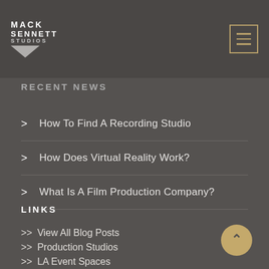MACK SENNETT STUDIOS
RECENT NEWS
How To Find A Recording Studio
How Does Virtual Reality Work?
What Is A Film Production Company?
LINKS
>> View All Blog Posts
>> Production Studios
>> LA Event Spaces